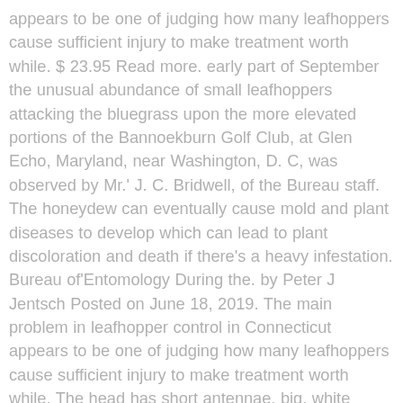appears to be one of judging how many leafhoppers cause sufficient injury to make treatment worth while. $ 23.95 Read more. early part of September the unusual abundance of small leafhoppers attacking the bluegrass upon the more elevated portions of the Bannoekburn Golf Club, at Glen Echo, Maryland, near Washington, D. C, was observed by Mr.' J. C. Bridwell, of the Bureau staff. The honeydew can eventually cause mold and plant diseases to develop which can lead to plant discoloration and death if there's a heavy infestation. Bureau of'Entomology During the. by Peter J Jentsch Posted on June 18, 2019. The main problem in leafhopper control in Connecticut appears to be one of judging how many leafhoppers cause sufficient injury to make treatment worth while. The head has short antennae, big, white eyes, and six white spots behind the eyes. Potato foliage sugar concentration in relation to infestation by the potato leafhopper, Empoasca fabae (Homoptera: Cicadellidae). 5 How to Control Leafhoppers Naturally. The Leafhopper on roses itself is an approximately three-millimeter